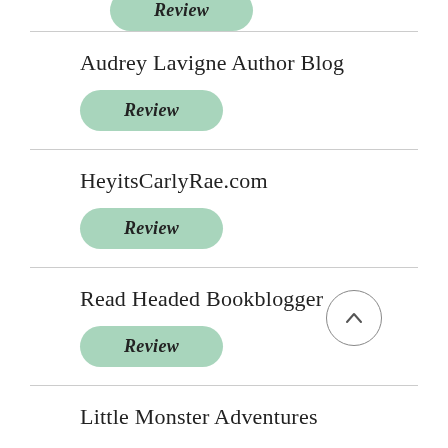[Figure (other): Green rounded Review button (partial, top of page)]
Audrey Lavigne Author Blog
[Figure (other): Green rounded Review button]
HeyitsCarlyRae.com
[Figure (other): Green rounded Review button]
Read Headed Bookblogger
[Figure (other): Green rounded Review button]
[Figure (other): Back to top arrow button (circle with upward chevron)]
Little Monster Adventures